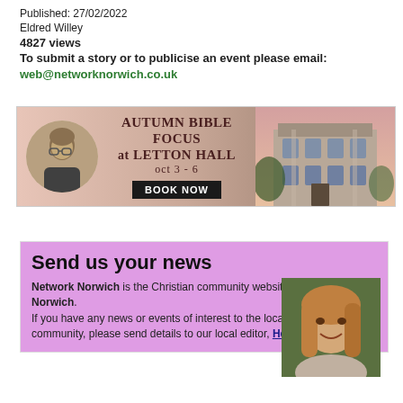Published: 27/02/2022
Eldred Willey
4827 views
To submit a story or to publicise an event please email: web@networknorwich.co.uk
[Figure (infographic): Banner advertisement for Autumn Bible Focus at Letton Hall, Oct 3-6, with a circular photo of a man, text in the center, and a photo of a historic building on the right. Includes a 'BOOK NOW' button.]
Send us your news
Network Norwich is the Christian community website for greater Norwich. If you have any news or events of interest to the local Christian community, please send details to our local editor, Helen Baldry
[Figure (photo): Photo of Helen Baldry, a woman with long blonde-red hair, smiling]